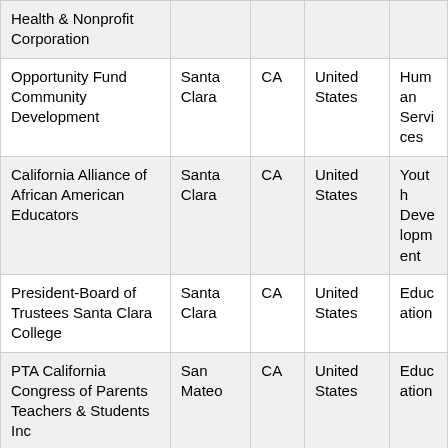| Health & Nonprofit Corporation |  |  |  |  |
| Opportunity Fund Community Development | Santa Clara | CA | United States | Human Services |
| California Alliance of African American Educators | Santa Clara | CA | United States | Youth Development |
| President-Board of Trustees Santa Clara College | Santa Clara | CA | United States | Education |
| PTA California Congress of Parents Teachers & Students Inc | San Mateo | CA | United States | Education |
| Hope Hospice | N/A | FL | United States | Human |